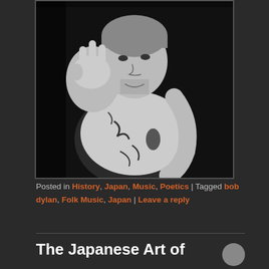[Figure (photo): Black and white photograph of a man in a worn/distressed garment making a peace sign or counting gesture with his hand, facing the camera with a slight smile. High contrast monochrome portrait.]
Posted in History, Japan, Music, Poetics | Tagged bob dylan, Folk Music, Japan | Leave a reply
The Japanese Art of